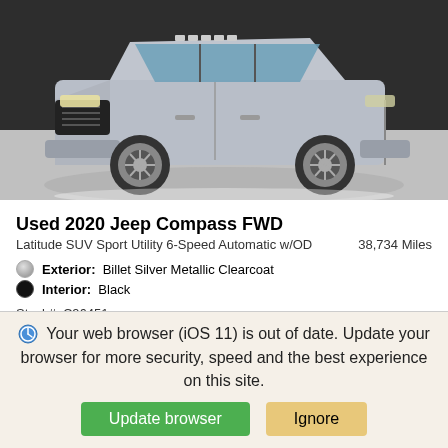[Figure (photo): Silver Jeep Compass FWD SUV on a grey/white studio-style floor]
Used 2020 Jeep Compass FWD
Latitude SUV Sport Utility 6-Speed Automatic w/OD    38,734 Miles
Exterior:  Billet Silver Metallic Clearcoat
Interior:  Black
Stock#: C96451
| Label | Value |
| --- | --- |
| WAS | $28,955 |
| DEALER DISCOUNT | -$4,962 |
| TOTAL SAVINGS | $4,962 |
Your web browser (iOS 11) is out of date. Update your browser for more security, speed and the best experience on this site.